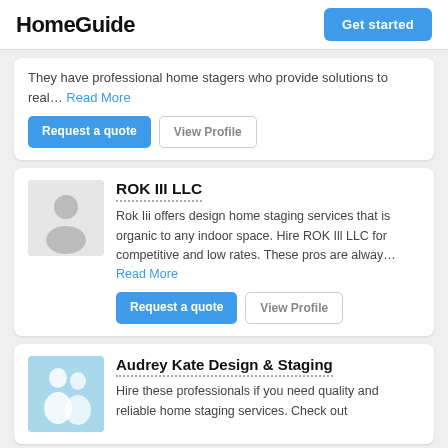HomeGuide | Get started
They have professional home stagers who provide solutions to real... Read More
Request a quote | View Profile
ROK III LLC
Rok Iii offers design home staging services that is organic to any indoor space. Hire ROK Ill LLC for competitive and low rates. These pros are alway... Read More
Request a quote | View Profile
Audrey Kate Design & Staging
Hire these professionals if you need quality and reliable home staging services. Check out